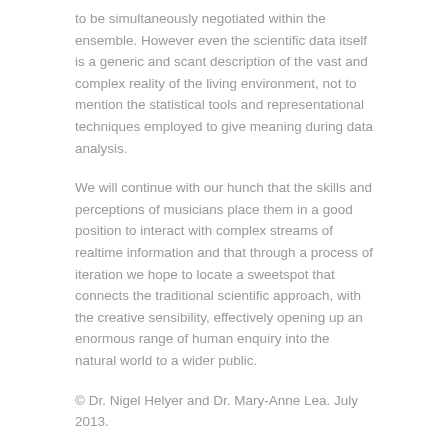to be simultaneously negotiated within the ensemble. However even the scientific data itself is a generic and scant description of the vast and complex reality of the living environment, not to mention the statistical tools and representational techniques employed to give meaning during data analysis.
We will continue with our hunch that the skills and perceptions of musicians place them in a good position to interact with complex streams of realtime information and that through a process of iteration we hope to locate a sweetspot that connects the traditional scientific approach, with the creative sensibility, effectively opening up an enormous range of human enquiry into the natural world to a wider public.
© Dr. Nigel Helyer and Dr. Mary-Anne Lea. July 2013.
← EcoLocated: Art Science and the Environment.
An Atlas of Small Voyages →